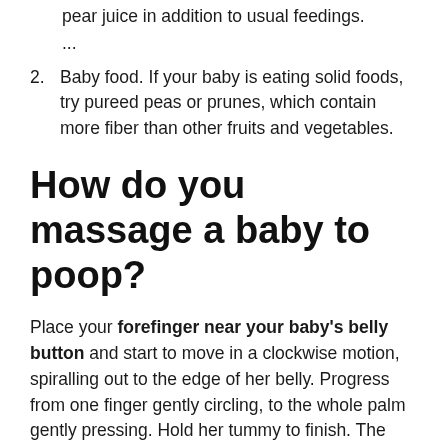pear juice in addition to usual feedings.
...
2. Baby food. If your baby is eating solid foods, try pureed peas or prunes, which contain more fiber than other fruits and vegetables.
How do you massage a baby to poop?
Place your forefinger near your baby's belly button and start to move in a clockwise motion, spiralling out to the edge of her belly. Progress from one finger gently circling, to the whole palm gently pressing. Hold her tummy to finish. The warmth of your hands will help soothe and calm your baby.